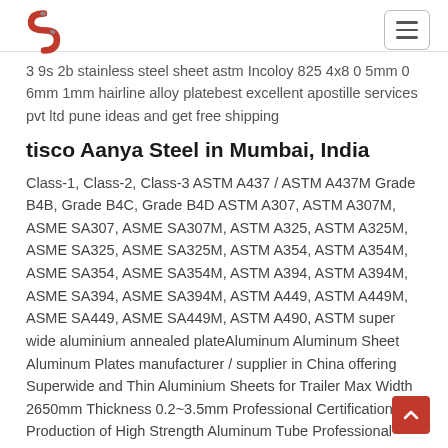Logo and navigation menu
3 9s 2b stainless steel sheet astm Incoloy 825 4x8 0 5mm 0 6mm 1mm hairline alloy platebest excellent apostille services pvt ltd pune ideas and get free shipping
tisco Aanya Steel in Mumbai, India
Class-1, Class-2, Class-3 ASTM A437 / ASTM A437M Grade B4B, Grade B4C, Grade B4D ASTM A307, ASTM A307M, ASME SA307, ASME SA307M, ASTM A325, ASTM A325M, ASME SA325, ASME SA325M, ASTM A354, ASTM A354M, ASME SA354, ASME SA354M, ASTM A394, ASTM A394M, ASME SA394, ASME SA394M, ASTM A449, ASTM A449M, ASME SA449, ASME SA449M, ASTM A490, ASTM super wide aluminium annealed plateAluminum Aluminum Sheet Aluminum Plates manufacturer / supplier in China offering Superwide and Thin Aluminium Sheets for Trailer Max Width 2650mm Thickness 0.2~3.5mm Professional Certification Production of High Strength Aluminum Tube Professional Certification